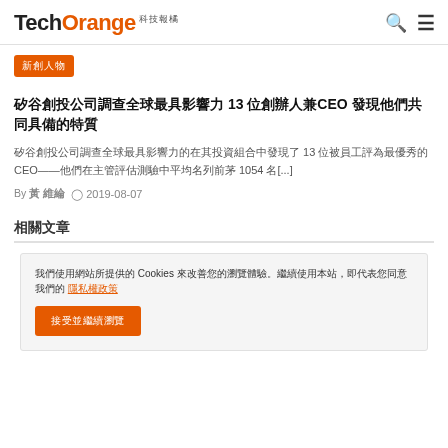TechOrange 科技報橘
新創人物
矽谷創投公司調查全球最具影響力 13 位創辦人兼CEO 發現他們共同具備的特質
矽谷創投公司 First Round Capital 在其投資組合中發現了 13 位被員工評為最優秀的 CEO——他們在主管評估測驗中平均名列前茅 1054 名[...]
By 黃 維綸  ⏱ 2019-08-07
相關文章
我們使用 Cookies 來改善您的瀏覽體驗。繼續使用本站，即代表您同意我們的 隱私權政策
接受並繼續瀏覽